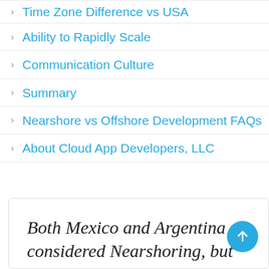Time Zone Difference vs USA
Ability to Rapidly Scale
Communication Culture
Summary
Nearshore vs Offshore Development FAQs
About Cloud App Developers, LLC
Both Mexico and Argentina are considered Nearshoring, but